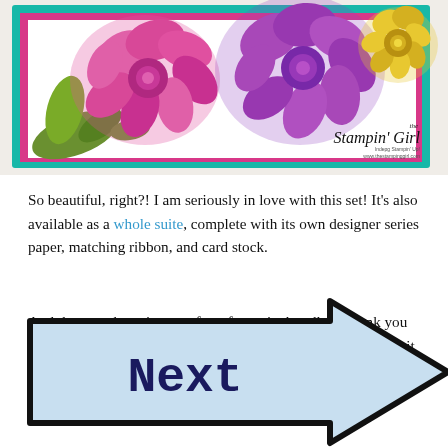[Figure (photo): A handmade greeting card featuring watercolored succulent flowers in pink, purple, and yellow on a teal and hot pink layered background. Watermark reads 'the Stampin' Girl' with website www.thestampinggirl.com]
So beautiful, right?! I am seriously in love with this set! It’s also available as a whole suite, complete with its own designer series paper, matching ribbon, and card stock.
And there we have it, one of my favourite bundles! Thank you for joining me on the blog today! Be sure to click below to visit the next blogger for some more amazing bundle options.
[Figure (illustration): A light blue arrow shape pointing right with thick black outline and the word 'Next' written in dark navy serif font inside it.]